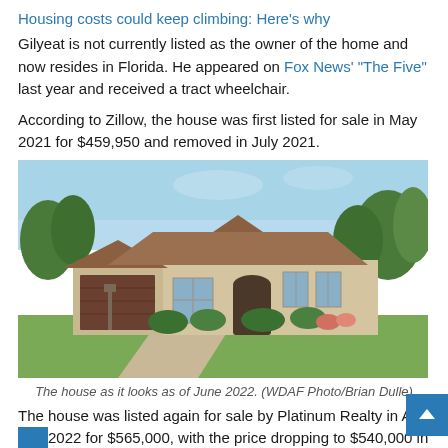Housing costs could keep climbing: Here’s why
Gilyeat is not currently listed as the owner of the home and now resides in Florida. He appeared on Fox News’ “The Five” last year and received a tract wheelchair.
According to Zillow, the house was first listed for sale in May 2021 for $459,950 and removed in July 2021.
[Figure (photo): Exterior photo of a large single-story beige/tan stucco house with brown tile roof, three-car garage, manicured landscaping, and a wide concrete driveway. Taken June 2022.]
The house as it looks as of June 2022. (WDAF Photo/Brian Dulle)
The house was listed again for sale by Platinum Realty in Apr 2022 for $565,000, with the price dropping to $540,000 in May